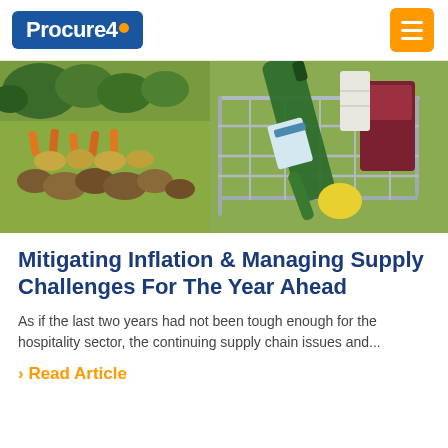Procure4
[Figure (photo): A grocery store shopping cart filled with vegetables, a green bottle, and other food items, with produce shelves in the background including broccoli, carrots, mushrooms, and citrus fruits.]
Mitigating Inflation & Managing Supply Challenges For The Year Ahead
As if the last two years had not been tough enough for the hospitality sector, the continuing supply chain issues and...
› Read Article